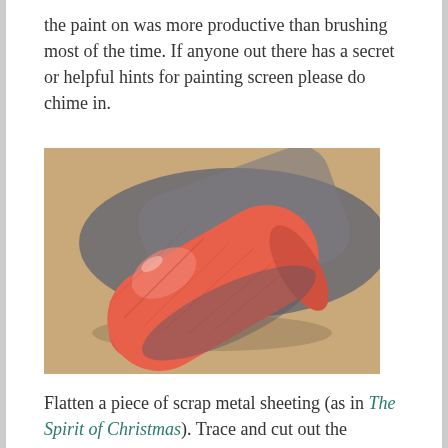the paint on was more productive than brushing most of the time. If anyone out there has a secret or helpful hints for painting screen please do chime in.
[Figure (photo): A roll of red-painted metal screen mesh lying diagonally on a brown surface, with dark grey unpainted mesh visible behind it.]
Flatten a piece of scrap metal sheeting (as in The Spirit of Christmas). Trace and cut out the